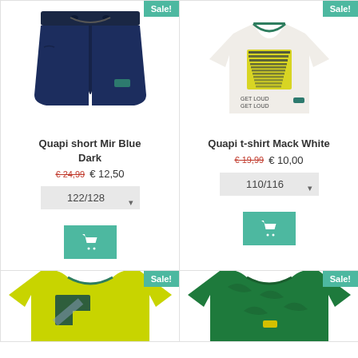[Figure (photo): Dark navy blue shorts with drawstring, sale badge top right]
Quapi short Mir Blue Dark
€24,99 € 12,50
[Figure (photo): White t-shirt with yellow and navy palm leaf graphic and GET LOUD text, sale badge top right]
Quapi t-shirt Mack White
€19,99 € 10,00
[Figure (photo): Yellow-green t-shirt with geometric graphic, sale badge, partially visible at bottom]
[Figure (photo): Green t-shirt with subtle pattern, sale badge, partially visible at bottom]